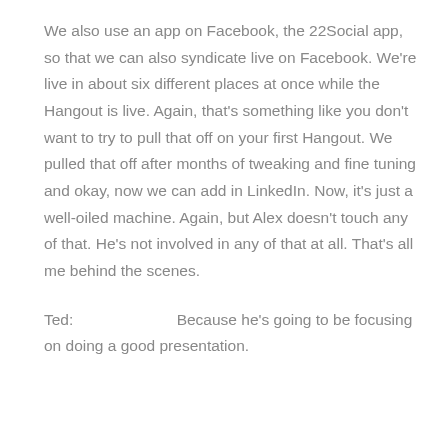We also use an app on Facebook, the 22Social app, so that we can also syndicate live on Facebook. We're live in about six different places at once while the Hangout is live. Again, that's something like you don't want to try to pull that off on your first Hangout. We pulled that off after months of tweaking and fine tuning and okay, now we can add in LinkedIn. Now, it's just a well-oiled machine. Again, but Alex doesn't touch any of that. He's not involved in any of that at all. That's all me behind the scenes.
Ted:                    Because he's going to be focusing on doing a good presentation.